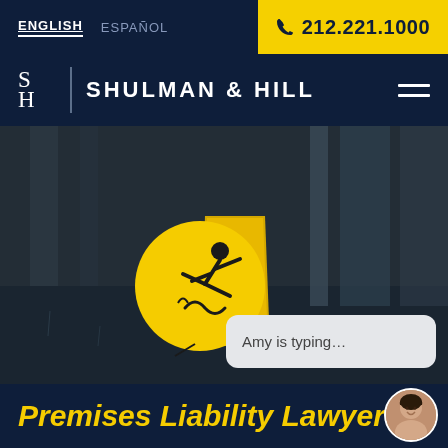ENGLISH  ESPAÑOL  212.221.1000
SHULMAN & HILL
[Figure (screenshot): Wet floor warning sign with yellow caution cone and slip hazard symbol circle on a dark rainy background. Chat bubble overlay reading 'Amy is typing...' and a circular avatar photo of a woman.]
Premises Liability Lawyer